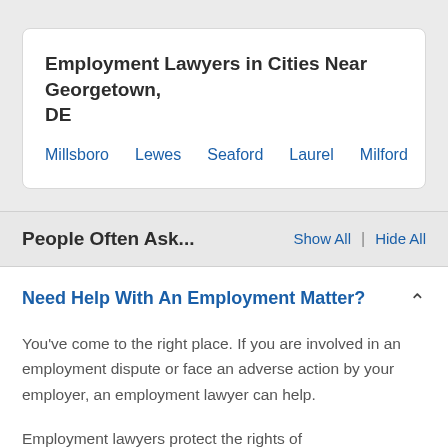Employment Lawyers in Cities Near Georgetown, DE
Millsboro
Lewes
Seaford
Laurel
Milford
People Often Ask...
Show All | Hide All
Need Help With An Employment Matter?
You've come to the right place. If you are involved in an employment dispute or face an adverse action by your employer, an employment lawyer can help.
Employment lawyers protect the rights of